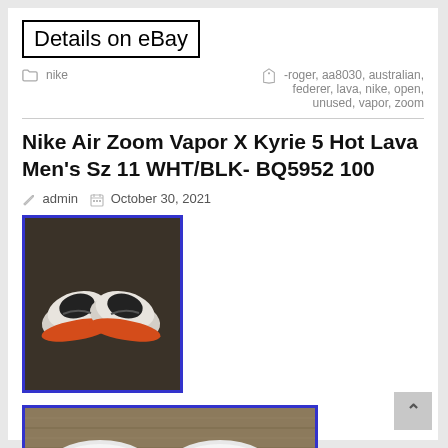Details on eBay
nike
-roger, aa8030, australian, federer, lava, nike, open, unused, vapor, zoom
Nike Air Zoom Vapor X Kyrie 5 Hot Lava Men's Sz 11 WHT/BLK- BQ5952 100
admin   October 30, 2021
[Figure (photo): Top-down view of white and black Nike sneakers with orange soles on a dark surface]
[Figure (photo): Bottom view of white Nike sneaker soles on a wooden surface]